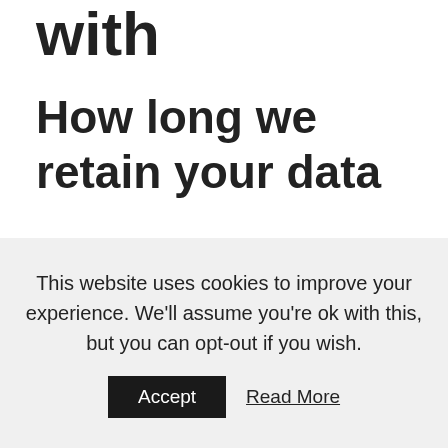with
How long we retain your data
If you leave a comment, the comment and its metadata are retained indefinitely. This is so we can recognize and approve any follow-up comments automatically instead of holding them in a moderation queue.
This website uses cookies to improve your experience. We'll assume you're ok with this, but you can opt-out if you wish.